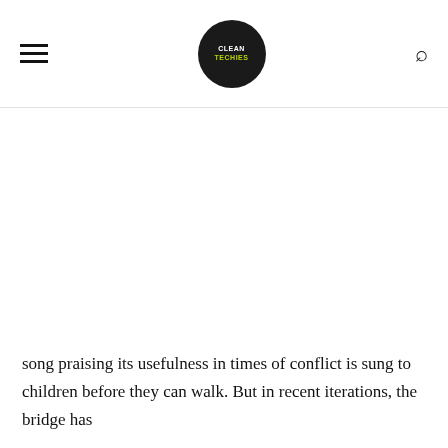CLEANTECHIES logo with hamburger menu and search icon
song praising its usefulness in times of conflict is sung to children before they can walk. But in recent iterations, the bridge has